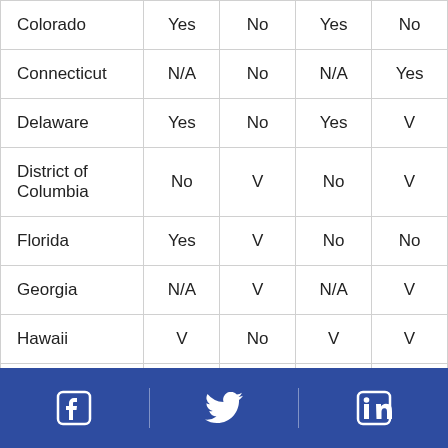| Colorado | Yes | No | Yes | No |
| Connecticut | N/A | No | N/A | Yes |
| Delaware | Yes | No | Yes | V |
| District of Columbia | No | V | No | V |
| Florida | Yes | V | No | No |
| Georgia | N/A | V | N/A | V |
| Hawaii | V | No | V | V |
| Idaho (partial) | No | No | No | Yes |
Social media icons: Facebook, Twitter, LinkedIn